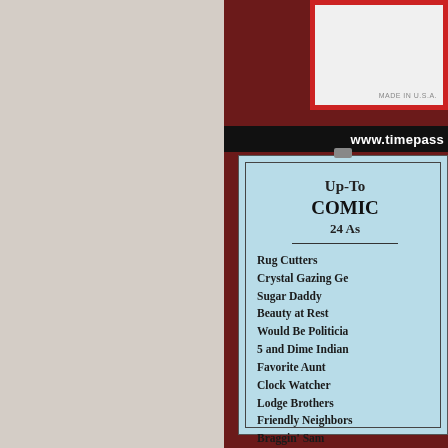[Figure (photo): Left half: faded collage of vintage toys and games items; right half: dark maroon/red background with a light blue document card visible]
www.timepass
Up-To
COMIC
24 As

Rug Cutters
Crystal Gazing Ge
Sugar Daddy
Beauty at Rest
Would Be Politicia
5 and Dime Indian
Favorite Aunt
Clock Watcher
Lodge Brothers
Friendly Neighbors
Braggin' Sam
Club Leader